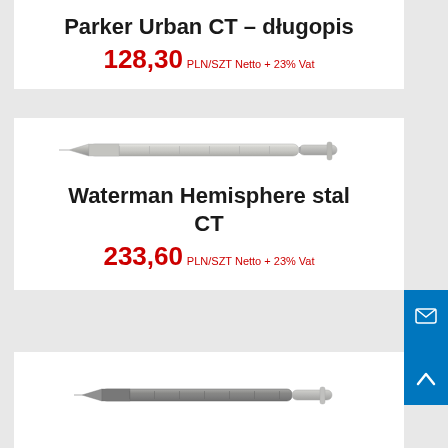Parker Urban CT – długopis
128,30 PLN/SZT Netto + 23% Vat
[Figure (illustration): Silver/chrome ballpoint pen (Waterman Hemisphere stal CT) viewed from the side on white background]
Waterman Hemisphere stal CT
233,60 PLN/SZT Netto + 23% Vat
[Figure (illustration): Dark silver/gunmetal ballpoint pen viewed from the side on white background (partial view, bottom card)]